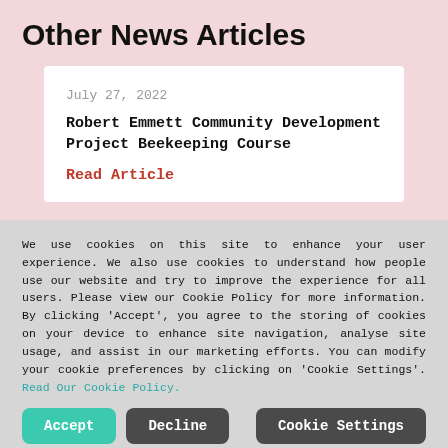Other News Articles
July 27, 2022
Robert Emmett Community Development Project Beekeeping Course
Read Article
We use cookies on this site to enhance your user experience. We also use cookies to understand how people use our website and try to improve the experience for all users. Please view our Cookie Policy for more information. By clicking 'Accept', you agree to the storing of cookies on your device to enhance site navigation, analyse site usage, and assist in our marketing efforts. You can modify your cookie preferences by clicking on 'Cookie Settings'. Read Our Cookie Policy.